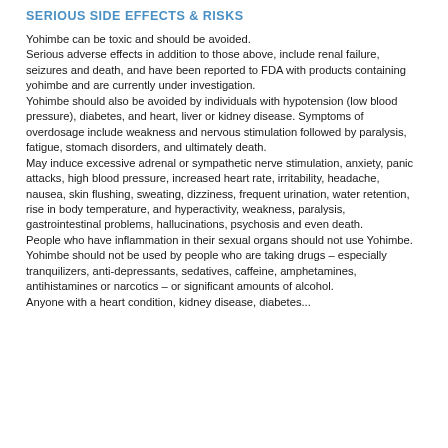SERIOUS SIDE EFFECTS & RISKS
Yohimbe can be toxic and should be avoided. Serious adverse effects in addition to those above, include renal failure, seizures and death, and have been reported to FDA with products containing yohimbe and are currently under investigation. Yohimbe should also be avoided by individuals with hypotension (low blood pressure), diabetes, and heart, liver or kidney disease. Symptoms of overdosage include weakness and nervous stimulation followed by paralysis, fatigue, stomach disorders, and ultimately death. May induce excessive adrenal or sympathetic nerve stimulation, anxiety, panic attacks, high blood pressure, increased heart rate, irritability, headache, nausea, skin flushing, sweating, dizziness, frequent urination, water retention, rise in body temperature, and hyperactivity, weakness, paralysis, gastrointestinal problems, hallucinations, psychosis and even death. People who have inflammation in their sexual organs should not use Yohimbe. Yohimbe should not be used by people who are taking drugs – especially tranquilizers, anti-depressants, sedatives, caffeine, amphetamines, antihistamines or narcotics – or significant amounts of alcohol. Anyone with a heart condition, kidney disease, diabetes...